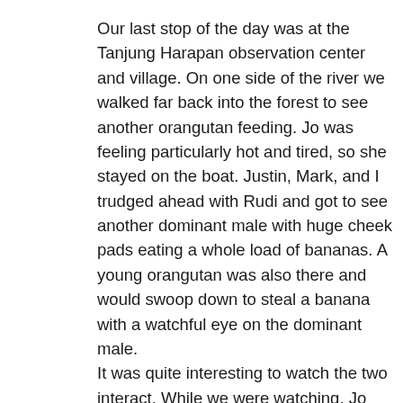Our last stop of the day was at the Tanjung Harapan observation center and village. On one side of the river we walked far back into the forest to see another orangutan feeding. Jo was feeling particularly hot and tired, so she stayed on the boat. Justin, Mark, and I trudged ahead with Rudi and got to see another dominant male with huge cheek pads eating a whole load of bananas. A young orangutan was also there and would swoop down to steal a banana with a watchful eye on the dominant male. It was quite interesting to watch the two interact. While we were watching, Jo appeared. Evidently it was so hot on the boat she decided to brave the forest to find us. One of the crew on the boat actually came to her assistance and led her into the forest. We all walked back to Omega together and then moved across the river to the Tanjung Harapan village. It is a village subsidized by the government and often visited by tourists. There were some friendly people, especially